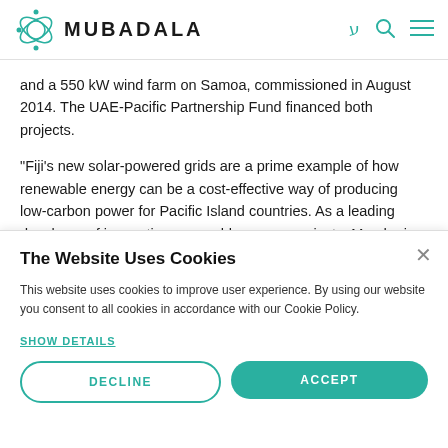MUBADALA
and a 550 kW wind farm on Samoa, commissioned in August 2014. The UAE-Pacific Partnership Fund financed both projects.
“Fiji’s new solar-powered grids are a prime example of how renewable energy can be a cost-effective way of producing low-carbon power for Pacific Island countries. As a leading developer of innovative renewable energy projects, Masdar is proud to deliver sustainable solutions that provide greater clean access to energy and accelerate economic development globally,” said Dr. Ahmad Belhoul, CEO of Masdar.
The Website Uses Cookies
This website uses cookies to improve user experience. By using our website you consent to all cookies in accordance with our Cookie Policy.
SHOW DETAILS
DECLINE
ACCEPT